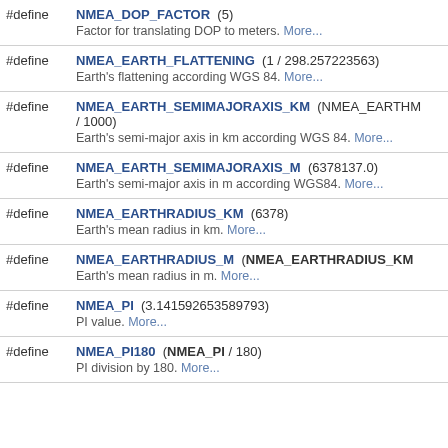#define NMEA_DOP_FACTOR (5)
Factor for translating DOP to meters. More...
#define NMEA_EARTH_FLATTENING (1 / 298.257223563)
Earth's flattening according WGS 84. More...
#define NMEA_EARTH_SEMIMAJORAXIS_KM (NMEA_EARTHM / 1000)
Earth's semi-major axis in km according WGS 84. More...
#define NMEA_EARTH_SEMIMAJORAXIS_M (6378137.0)
Earth's semi-major axis in m according WGS84. More...
#define NMEA_EARTHRADIUS_KM (6378)
Earth's mean radius in km. More...
#define NMEA_EARTHRADIUS_M (NMEA_EARTHRADIUS_KM
Earth's mean radius in m. More...
#define NMEA_PI (3.141592653589793)
PI value. More...
#define NMEA_PI180 (NMEA_PI / 180)
PI division by 180. More...